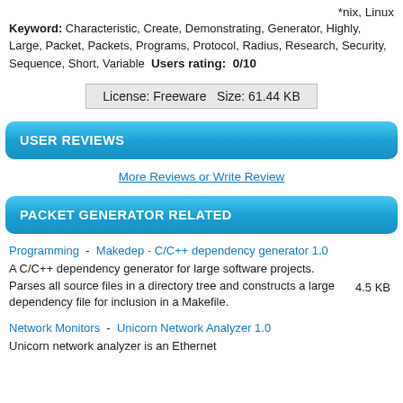*nix, Linux
Keyword: Characteristic, Create, Demonstrating, Generator, Highly, Large, Packet, Packets, Programs, Protocol, Radius, Research, Security, Sequence, Short, Variable  Users rating: 0/10
License: Freeware  Size: 61.44 KB
USER REVIEWS
More Reviews or Write Review
PACKET GENERATOR RELATED
Programming  -  Makedep - C/C++ dependency generator 1.0
A C/C++ dependency generator for large software projects. Parses all source files in a directory tree and constructs a large dependency file for inclusion in a Makefile.  4.5 KB
Network Monitors  -  Unicorn Network Analyzer 1.0
Unicorn network analyzer is an Ethernet